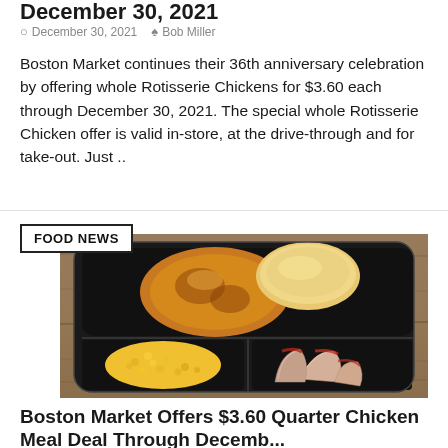December 30, 2021
December 30, 2021  Bob Miller
Boston Market continues their 36th anniversary celebration by offering whole Rotisserie Chickens for $3.60 each through December 30, 2021. The special whole Rotisserie Chicken offer is valid in-store, at the drive-through and for take-out. Just ..
[Figure (photo): A black divided meal tray containing rotisserie chicken pieces and a biscuit in the main compartment, corn in the bottom left compartment, and sliced red potatoes in the bottom right compartment, on a wooden surface.]
Boston Market Offers $3.60 Quarter Chicken Meal Deal Through Decemb...